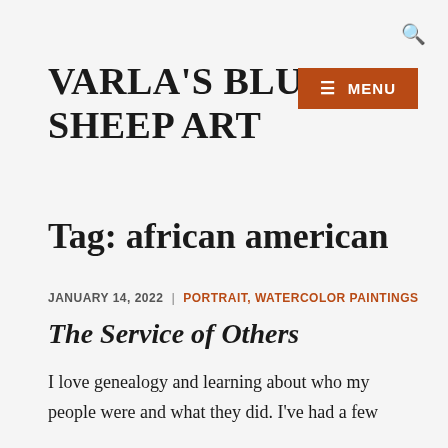VARLA'S BLUE SHEEP ART
Tag: african american
JANUARY 14, 2022 | PORTRAIT, WATERCOLOR PAINTINGS
The Service of Others
I love genealogy and learning about who my people were and what they did. I've had a few